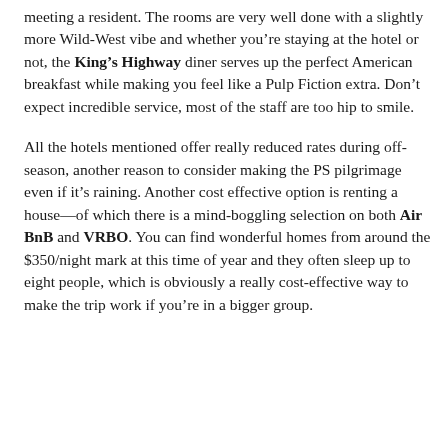meeting a resident. The rooms are very well done with a slightly more Wild-West vibe and whether you're staying at the hotel or not, the King's Highway diner serves up the perfect American breakfast while making you feel like a Pulp Fiction extra. Don't expect incredible service, most of the staff are too hip to smile.
All the hotels mentioned offer really reduced rates during off-season, another reason to consider making the PS pilgrimage even if it's raining. Another cost effective option is renting a house—of which there is a mind-boggling selection on both Air BnB and VRBO. You can find wonderful homes from around the $350/night mark at this time of year and they often sleep up to eight people, which is obviously a really cost-effective way to make the trip work if you're in a bigger group.